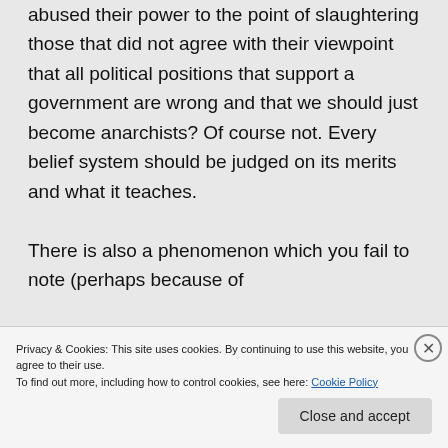abused their power to the point of slaughtering those that did not agree with their viewpoint that all political positions that support a government are wrong and that we should just become anarchists? Of course not. Every belief system should be judged on its merits and what it teaches.

There is also a phenomenon which you fail to note (perhaps because of
Privacy & Cookies: This site uses cookies. By continuing to use this website, you agree to their use.
To find out more, including how to control cookies, see here: Cookie Policy